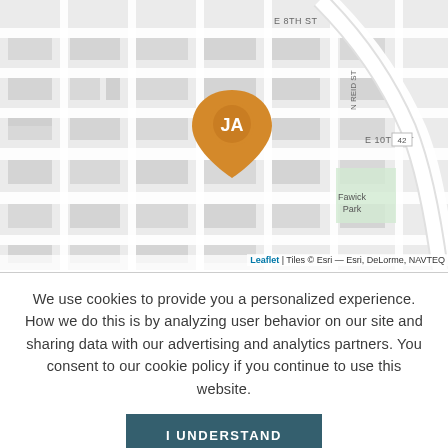[Figure (map): Street map showing urban grid with location pin marker labeled 'JA' in orange/gold color. Map shows E 8TH ST, N REID ST, E 10TH ST with route 42, and Fawick Park labels. Map rendered via Leaflet with Esri tiles.]
Leaflet | Tiles © Esri — Esri, DeLorme, NAVTEQ
We use cookies to provide you a personalized experience. How we do this is by analyzing user behavior on our site and sharing data with our advertising and analytics partners. You consent to our cookie policy if you continue to use this website.
I UNDERSTAND